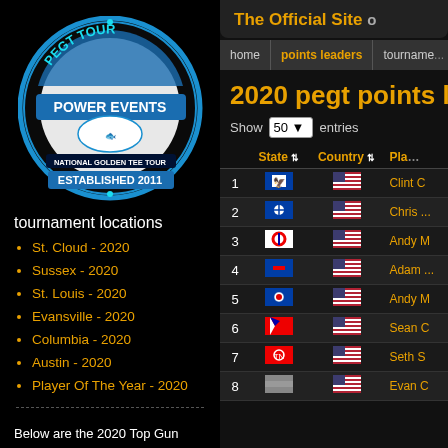[Figure (logo): PEGT Tour Power Events circular logo - National Golden Tee Tour established 2011, blue and white circular design with golf imagery]
tournament locations
St. Cloud - 2020
Sussex - 2020
St. Louis - 2020
Evansville - 2020
Columbia - 2020
Austin - 2020
Player Of The Year - 2020
Below are the 2020 Top Gun current & estimated payouts after 2 of 6 events. The final
The Official Site
home   points leaders   tourname...
2020 pegt points l
Show 50 entries
|  | State | Country | Pla... |
| --- | --- | --- | --- |
| 1 | [IL flag] | [US flag] | Clint C |
| 2 | [SC flag] | [US flag] | Chris ... |
| 3 | [OH flag] | [US flag] | Andy M |
| 4 | [MS flag] | [US flag] | Adam ... |
| 5 | [MO flag] | [US flag] | Andy M |
| 6 | [TX flag] | [US flag] | Sean C |
| 7 | [TN flag] | [US flag] | Seth S |
| 8 | [MO flag] | [US flag] | Evan C |